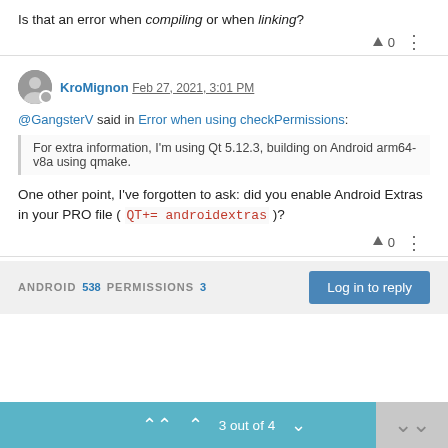Is that an error when compiling or when linking?
^ 0 ⋮
KroMignon Feb 27, 2021, 3:01 PM
@GangsterV said in Error when using checkPermissions:
For extra information, I'm using Qt 5.12.3, building on Android arm64-v8a using qmake.
One other point, I've forgotten to ask: did you enable Android Extras in your PRO file ( QT+= androidextras )?
^ 0 ⋮
ANDROID 538 PERMISSIONS 3   Log in to reply
3 out of 4